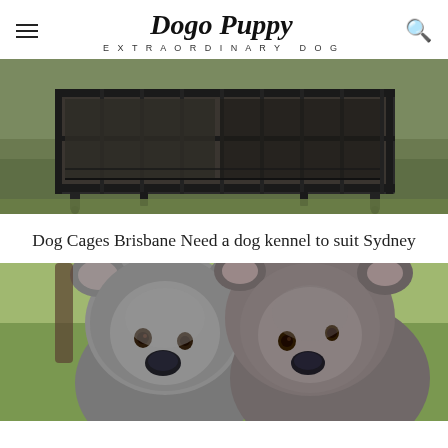Dogo Puppy EXTRAORDINARY DOG
[Figure (photo): A large dark metal dog cage/kennel sitting on green grass outdoors.]
Dog Cages Brisbane Need a dog kennel to suit Sydney
[Figure (photo): A close-up photograph of two koalas together, with green blurred background.]